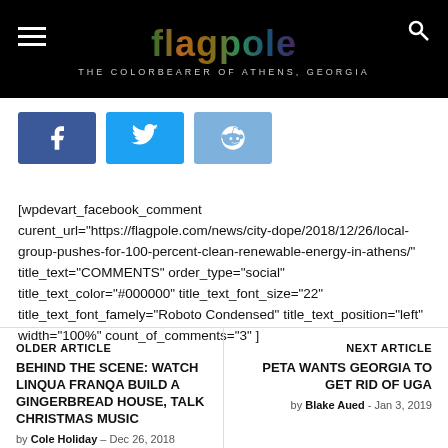flagpole — THE COLORBEARER OF ATHENS, GEORGIA
[Figure (other): Social share buttons: Facebook (blue), Twitter (light blue), Reddit (light blue)]
[wpdevart_facebook_comment curent_url="https://flagpole.com/news/city-dope/2018/12/26/local-group-pushes-for-100-percent-clean-renewable-energy-in-athens/" title_text="COMMENTS" order_type="social" title_text_color="#000000" title_text_font_size="22" title_text_font_famely="Roboto Condensed" title_text_position="left" width="100%" count_of_comments="3" ]
OLDER ARTICLE
BEHIND THE SCENE: WATCH LINQUA FRANQA BUILD A GINGERBREAD HOUSE, TALK CHRISTMAS MUSIC
NEXT ARTICLE
PETA WANTS GEORGIA TO GET RID OF UGA
by Blake Aued - Jan 3, 2019